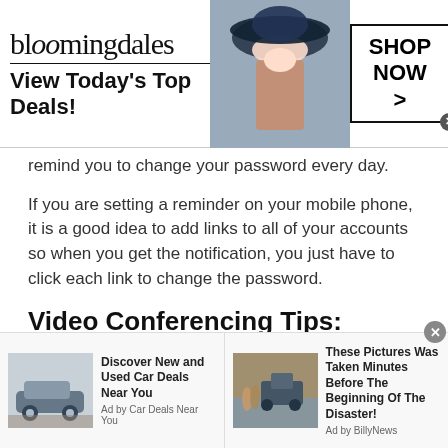[Figure (screenshot): Bloomingdale's advertisement banner: logo text 'bloomingdales', tagline 'View Today's Top Deals!', woman in wide-brim hat image, 'SHOP NOW >' button box with close X]
remind you to change your password every day.
If you are setting a reminder on your mobile phone, it is a good idea to add links to all of your accounts so when you get the notification, you just have to click each link to change the password.
Video Conferencing Tips: Impress the Person Behind Your Screen
American Chat With Girls can be an overwhelming situation especially if you want to impress the girl you a
[Figure (screenshot): Bottom ad strip with two ads: 'Discover New and Used Car Deals Near You' by Car Deals Near You with car image, and 'These Pictures Was Taken Minutes Before The Beginning Of The Disaster!' by BillyNews with truck/flooding image. Close X button top right.]